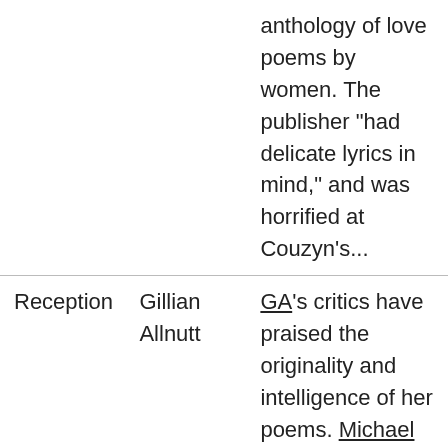|  |  |  |
| --- | --- | --- |
|  |  | anthology of love poems by women. The publisher "had delicate lyrics in mind," and was horrified at Couzyn's... |
| Reception | Gillian Allnutt | GA's critics have praised the originality and intelligence of her poems. Michael Laskey says they are "original poems, scrupulous, |